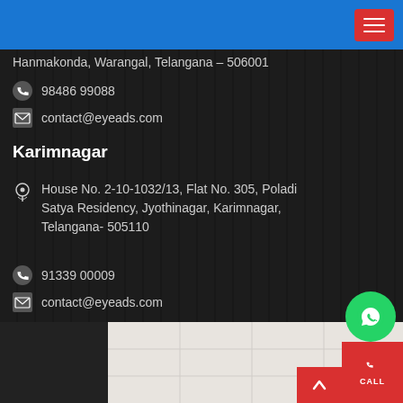Hanmakonda, Warangal, Telangana – 506001
98486 99088
contact@eyeads.com
Karimnagar
House No. 2-10-1032/13, Flat No. 305, Poladi Satya Residency, Jyothinagar, Karimnagar, Telangana- 505110
91339 00009
contact@eyeads.com
[Figure (map): Google Maps embed showing Karimnagar location]